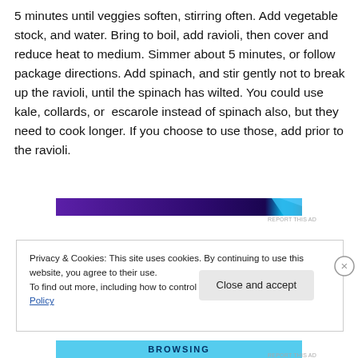5 minutes until veggies soften, stirring often. Add vegetable stock, and water. Bring to boil, add ravioli, then cover and reduce heat to medium. Simmer about 5 minutes, or follow package directions. Add spinach, and stir gently not to break up the ravioli, until the spinach has wilted. You could use kale, collards, or  escarole instead of spinach also, but they need to cook longer. If you choose to use those, add prior to the ravioli.
[Figure (other): Advertisement banner with purple and blue gradient design]
REPORT THIS AD
Privacy & Cookies: This site uses cookies. By continuing to use this website, you agree to their use.
To find out more, including how to control cookies, see here: Cookie Policy
Close and accept